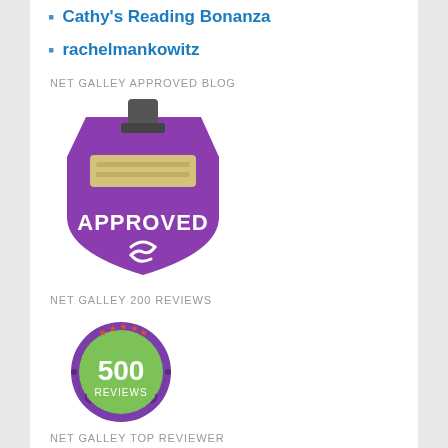Cathy's Reading Bonanza
rachelmankowitz
NET GALLEY APPROVED BLOG
[Figure (logo): NetGalley Approved Blog badge: a purple hexagon stamp shape with a rubber stamp graphic on top, yellow/tan stamp pad area, and white text reading APPROVED with a swirl logo below]
NET GALLEY 200 REVIEWS
[Figure (logo): NetGalley 500 Reviews badge: a circular green badge with purple laurel wreath border, orange/red stars at top, and white text reading 500 REVIEWS]
NET GALLEY TOP REVIEWER
[Figure (logo): NetGalley Top Reviewer badge: partially visible circular badge with stars and striped design, beginning to appear at bottom of page]